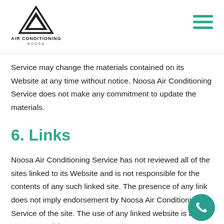Air Conditioning Noosa logo and navigation menu
Service may change the materials contained on its Website at any time without notice. Noosa Air Conditioning Service does not make any commitment to update the materials.
6. Links
Noosa Air Conditioning Service has not reviewed all of the sites linked to its Website and is not responsible for the contents of any such linked site. The presence of any link does not imply endorsement by Noosa Air Conditioning Service of the site. The use of any linked website is at the user's own risk.
7. Site Terms of Use Modifications